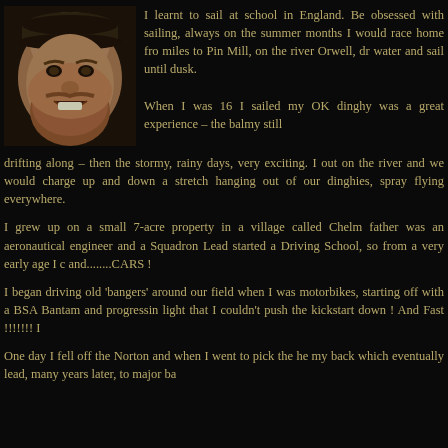[Figure (photo): Portrait photo of a bearded man wearing a cap, smiling, against a dark background.]
I learnt to sail at school in England. Be obsessed with sailing, always on the summer months I would race home fro miles to Pin Mill, on the river Orwell, dr water and sail until dusk.

When I was 16 I sailed my OK dinghy was a great experience – the balmy still drifting along – then the stormy, rainy days, very exciting. I out on the river and we would charge up and down a stretch hanging out of our dinghies, spray flying everywhere.

I grew up on a small 7-acre property in a village called Chelm father was an aeronautical engineer and a Squadron Lead started a Driving School, so from a very early age I c and........CARS !

I began driving old 'bangers' around our field when I was motorbikes, starting off with a BSA Bantam and progressin light that I couldn't push the kickstart down ! And Fast !!!!!!! I

One day I fell off the Norton and when I went to pick the he my back which eventually lead, many years later, to major ba